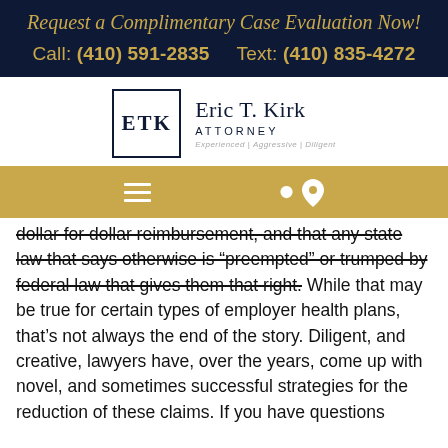Request a Complimentary Case Evaluation Now!
Call: (410) 591-2835     Text: (410) 835-4272
[Figure (logo): Eric T. Kirk Attorney logo with ETK monogram in box and text 'Eric T. Kirk ATTORNEY Experienced | Aggressive | Diligent']
[Figure (infographic): Gold navigation bar with hamburger menu icon and location pin icon]
dollar for dollar reimbursement, and that any state law that says otherwise is “preempted” or trumped by federal law that gives them that right. While that may be true for certain types of employer health plans, that’s not always the end of the story. Diligent, and creative, lawyers have, over the years, come up with novel, and sometimes successful strategies for the reduction of these claims. If you have questions